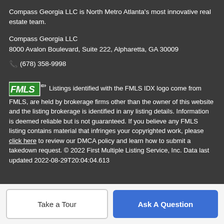Compass Georgia LLC is North Metro Atlanta's most innovative real estate team.
Compass Georgia LLC
8000 Avalon Boulevard, Suite 222, Alpharetta, GA 30009
☎ (678) 358-9998
Listings identified with the FMLS IDX logo come from FMLS, are held by brokerage firms other than the owner of this website and the listing brokerage is identified in any listing details. Information is deemed reliable but is not guaranteed. If you believe any FMLS listing contains material that infringes your copyrighted work, please click here to review our DMCA policy and learn how to submit a takedown request. © 2022 First Multiple Listing Service, Inc. Data last updated 2022-08-29T20:04:04.613.
Take a Tour | Ask A Question